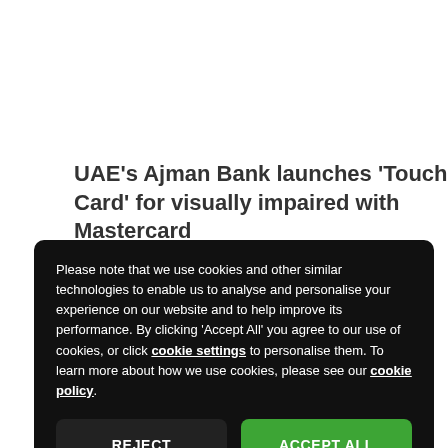UAE's Ajman Bank launches 'Touch Card' for visually impaired with Mastercard
Please note that we use cookies and other similar technologies to enable us to analyse and personalise your experience on our website and to help improve its performance. By clicking 'Accept All' you agree to our use of cookies, or click cookie settings to personalise them. To learn more about how we use cookies, please see our cookie policy.